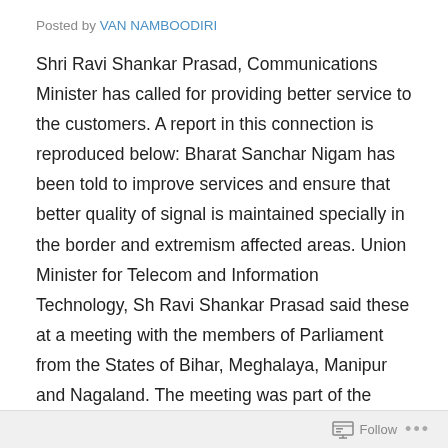Posted by VAN NAMBOODIRI
Shri Ravi Shankar Prasad, Communications Minister has called for providing better service to the customers. A report in this connection is reproduced below: Bharat Sanchar Nigam has been told to improve services and ensure that better quality of signal is maintained specially in the border and extremism affected areas. Union Minister for Telecom and Information Technology, Sh Ravi Shankar Prasad said these at a meeting with the members of Parliament from the States of Bihar, Meghalaya, Manipur and Nagaland. The meeting was part of the series of meetings planned to make telecom officials directly answerable to the parliamentary representatives so as to have a firsthand account of public sectors performance, problems faced and possible solutions.
Follow